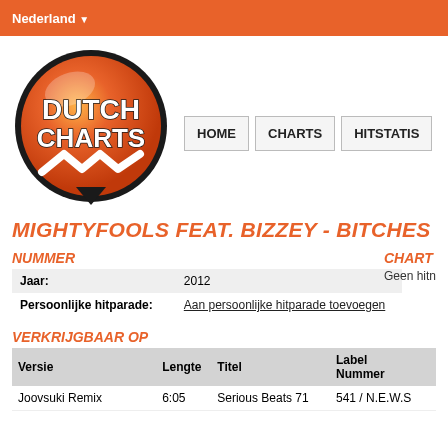Nederland ▼
[Figure (logo): Dutch Charts logo — orange circular badge with 'DUTCH CHARTS' text and white zigzag line at bottom]
MIGHTYFOOLS FEAT. BIZZEY - BITCHES
NUMMER
| Jaar: | 2012 |
| Persoonlijke hitparade: | Aan persoonlijke hitparade toevoegen |
CHART
Geen hitn
VERKRIJGBAAR OP
| Versie | Lengte | Titel | Label Nummer |
| --- | --- | --- | --- |
| Joovsuki Remix | 6:05 | Serious Beats 71 | 541 / N.E.W.S |